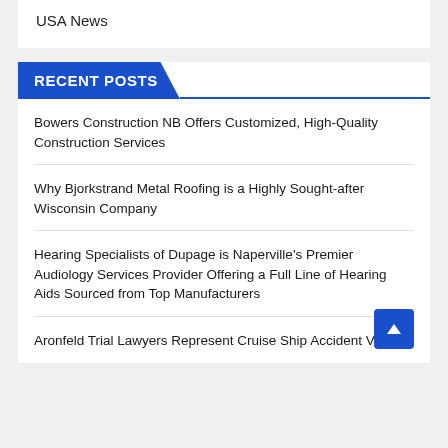USA News
RECENT POSTS
Bowers Construction NB Offers Customized, High-Quality Construction Services
Why Bjorkstrand Metal Roofing is a Highly Sought-after Wisconsin Company
Hearing Specialists of Dupage is Naperville's Premier Audiology Services Provider Offering a Full Line of Hearing Aids Sourced from Top Manufacturers
Aronfeld Trial Lawyers Represent Cruise Ship Accident Victims